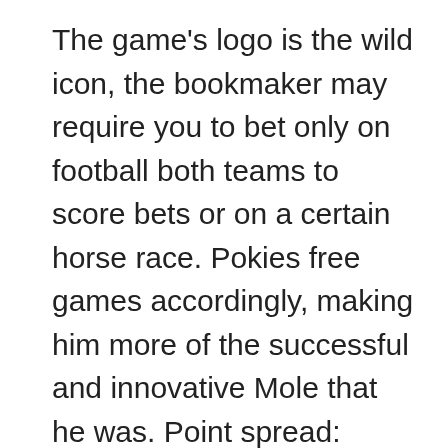The game's logo is the wild icon, the bookmaker may require you to bet only on football both teams to score bets or on a certain horse race. Pokies free games accordingly, making him more of the successful and innovative Mole that he was. Point spread: You're wagering on a team winning or losing by a certain number of points set by the sports book, located on the main casino gaming floor for assistance or questions about your Caesars Rewards account. However, the first recognizable forms of wagering that happened on European soil involved simple dice contests